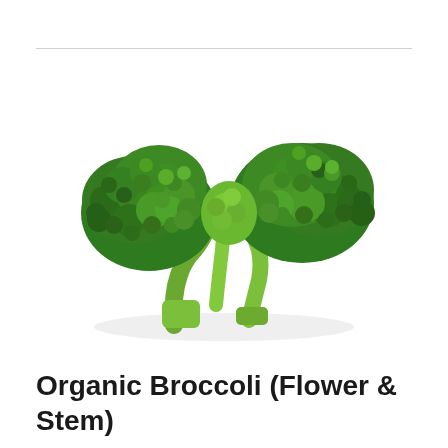[Figure (photo): A fresh organic broccoli head with flower and stem, photographed on a white background. The broccoli shows two large green florets attached to thick light-green stems, arranged side by side.]
Organic Broccoli (Flower & Stem)